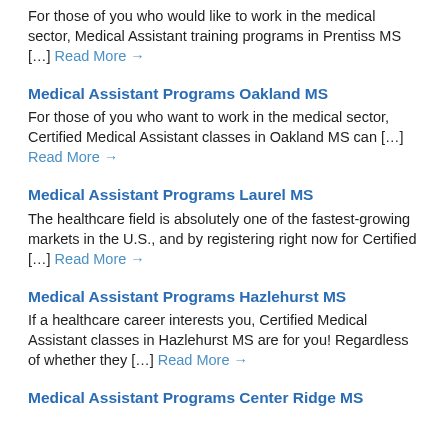For those of you who would like to work in the medical sector, Medical Assistant training programs in Prentiss MS […] Read More →
Medical Assistant Programs Oakland MS
For those of you who want to work in the medical sector, Certified Medical Assistant classes in Oakland MS can […] Read More →
Medical Assistant Programs Laurel MS
The healthcare field is absolutely one of the fastest-growing markets in the U.S., and by registering right now for Certified […] Read More →
Medical Assistant Programs Hazlehurst MS
If a healthcare career interests you, Certified Medical Assistant classes in Hazlehurst MS are for you! Regardless of whether they […] Read More →
Medical Assistant Programs Center Ridge MS